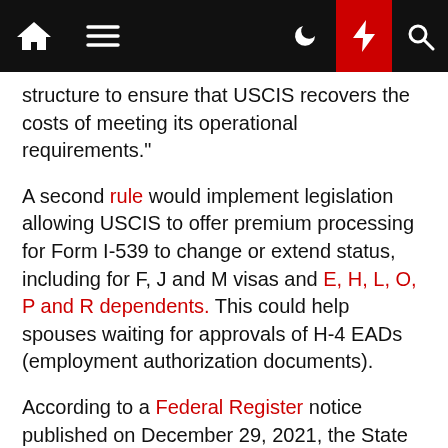[Navigation bar with home, menu, dark mode, lightning, and search icons]
structure to ensure that USCIS recovers the costs of meeting its operational requirements."
A second rule would implement legislation allowing USCIS to offer premium processing for Form I-539 to change or extend status, including for F, J and M visas and E, H, L, O, P and R dependents. This could help spouses waiting for approvals of H-4 EADs (employment authorization documents).
According to a Federal Register notice published on December 29, 2021, the State Department has proposed a rule to increase fees for workers, travelers, international students and exchange visitors in 2022. If the rule goes into effect, visa fees would increase as follows:
– The visa fee will increase from $160 to $245